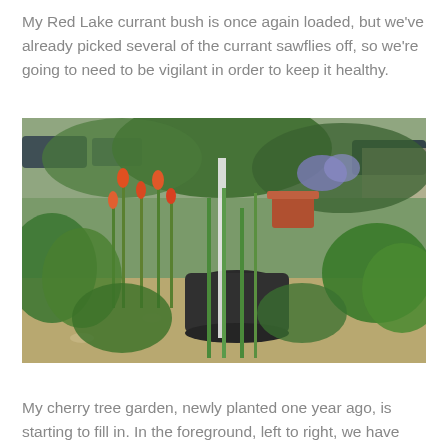My Red Lake currant bush is once again loaded, but we've already picked several of the currant sawflies off, so we're going to need to be vigilant in order to keep it healthy.
[Figure (photo): A garden scene showing a cherry tree with various plants including tall green onion-like stalks, orange-red tubular flowers, broad-leafed plants, a terracotta pot with a plant, a dark pot in the center, and gravel/mulch ground cover. Cars and buildings are visible in the blurred background.]
My cherry tree garden, newly planted one year ago, is starting to fill in. In the foreground, left to right, we have